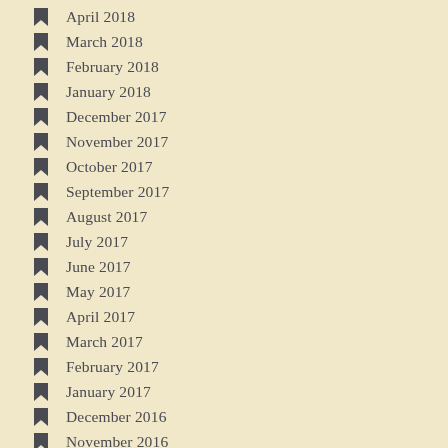April 2018
March 2018
February 2018
January 2018
December 2017
November 2017
October 2017
September 2017
August 2017
July 2017
June 2017
May 2017
April 2017
March 2017
February 2017
January 2017
December 2016
November 2016